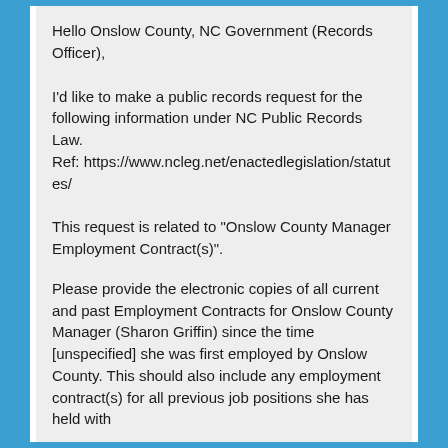Hello Onslow County, NC Government (Records Officer),
I'd like to make a public records request for the following information under NC Public Records Law.
Ref: https://www.ncleg.net/enactedlegislation/statutes/
This request is related to "Onslow County Manager Employment Contract(s)".
Please provide the electronic copies of all current and past Employment Contracts for Onslow County Manager (Sharon Griffin) since the time [unspecified] she was first employed by Onslow County. This should also include any employment contract(s) for all previous job positions she has held with